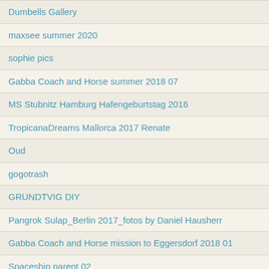Dumbells Gallery
maxsee summer 2020
sophie pics
Gabba Coach and Horse summer 2018 07
MS Stubnitz Hamburg Hafengeburtstag 2016
TropicanaDreams Mallorca 2017 Renate
Oud
gogotrash
GRUNDTVIG DIY
Pangrok Sulap_Berlin 2017_fotos by Daniel Hausherr
Gabba Coach and Horse mission to Eggersdorf 2018 01
Spaceship parent 02
Balkanization - nsf
Der Berg Ruft (a.k.a. Sterni Robot vs Primitive Accumulator on Mount Czentrifuga